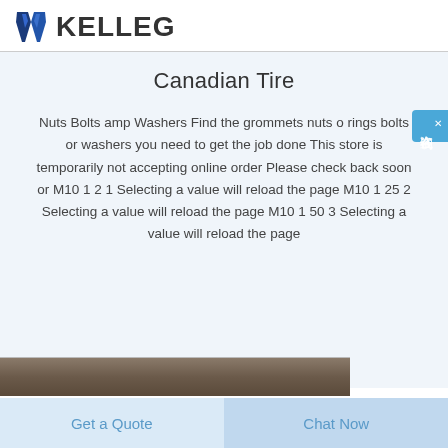[Figure (logo): KELLEG logo with stylized tie/bowtie icon in dark blue and navy, followed by bold text KELLEG]
Canadian Tire
Nuts Bolts amp Washers Find the grommets nuts o rings bolts or washers you need to get the job done This store is temporarily not accepting online order Please check back soon or M10 1 2 1 Selecting a value will reload the page M10 1 25 2 Selecting a value will reload the page M10 1 50 3 Selecting a value will reload the page
[Figure (photo): Partial photo strip visible at bottom of content area showing earthy/rocky texture]
Get a Quote
Chat Now